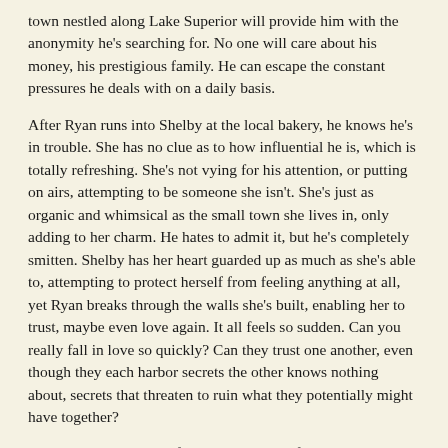town nestled along Lake Superior will provide him with the anonymity he's searching for. No one will care about his money, his prestigious family. He can escape the constant pressures he deals with on a daily basis.
After Ryan runs into Shelby at the local bakery, he knows he's in trouble. She has no clue as to how influential he is, which is totally refreshing. She's not vying for his attention, or putting on airs, attempting to be someone she isn't. She's just as organic and whimsical as the small town she lives in, only adding to her charm. He hates to admit it, but he's completely smitten. Shelby has her heart guarded up as much as she's able to, attempting to protect herself from feeling anything at all, yet Ryan breaks through the walls she's built, enabling her to trust, maybe even love again. It all feels so sudden. Can you really fall in love so quickly? Can they trust one another, even though they each harbor secrets the other knows nothing about, secrets that threaten to ruin what they potentially might have together?
Family Trees is a beautifully written book, focusing primarily on the secrets that threaten to shake foundations to its very core. It's about learning to trust and live again, even after the rug has been